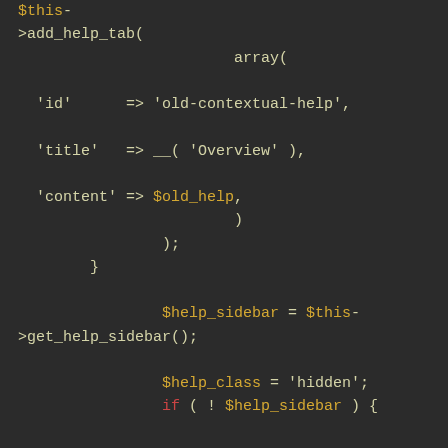[Figure (screenshot): PHP code snippet showing add_help_tab() call with array parameters including 'id', 'title', 'content', followed by get_help_sidebar() and $help_class variable assignments]